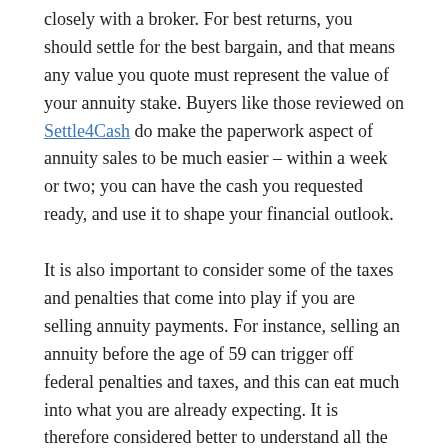closely with a broker. For best returns, you should settle for the best bargain, and that means any value you quote must represent the value of your annuity stake. Buyers like those reviewed on Settle4Cash do make the paperwork aspect of annuity sales to be much easier – within a week or two; you can have the cash you requested ready, and use it to shape your financial outlook.
It is also important to consider some of the taxes and penalties that come into play if you are selling annuity payments. For instance, selling an annuity before the age of 59 can trigger off federal penalties and taxes, and this can eat much into what you are already expecting. It is therefore considered better to understand all the rules involved before getting ready to pick the cash from annuity payment sale. You may also want to consider the time value of money. For instance, something that cost $5 five years ago maybe selling at $7 currently, and getting the figures right may ensure that you protect the value of your annuity investment. Besides using brokers, you can sell terms of your annuity contracts at a personal level. If you are using this approach, it is better off if you compare the orders you receive from different operators and pick the one that represents best